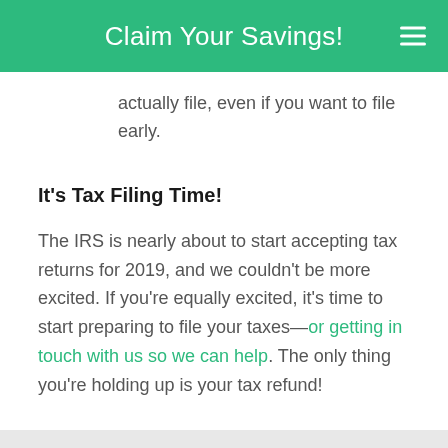Claim Your Savings!
actually file, even if you want to file early.
It's Tax Filing Time!
The IRS is nearly about to start accepting tax returns for 2019, and we couldn't be more excited. If you're equally excited, it's time to start preparing to file your taxes—or getting in touch with us so we can help. The only thing you're holding up is your tax refund!